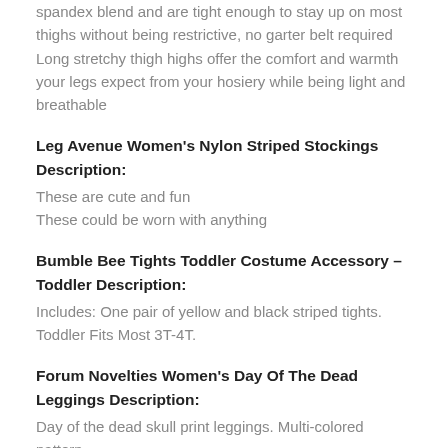spandex blend and are tight enough to stay up on most thighs without being restrictive, no garter belt required Long stretchy thigh highs offer the comfort and warmth your legs expect from your hosiery while being light and breathable
Leg Avenue Women’s Nylon Striped Stockings Description:
These are cute and fun
These could be worn with anything
Bumble Bee Tights Toddler Costume Accessory – Toddler Description:
Includes: One pair of yellow and black striped tights.
Toddler Fits Most 3T-4T.
Forum Novelties Women’s Day Of The Dead Leggings Description:
Day of the dead skull print leggings. Multi-colored pattern